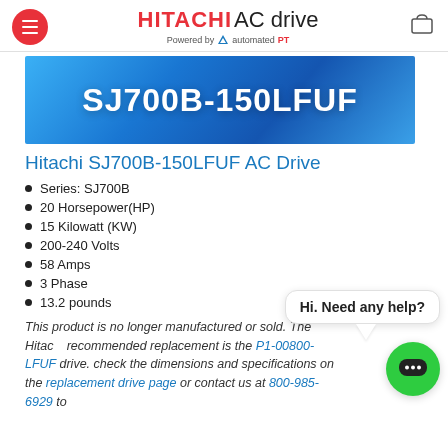HITACHI AC drive Powered by automatedPT
[Figure (photo): Blue gradient product banner displaying model number SJ700B-150LFUF in large white bold text]
Hitachi SJ700B-150LFUF AC Drive
Series: SJ700B
20 Horsepower(HP)
15 Kilowatt (KW)
200-240 Volts
58 Amps
3 Phase
13.2 pounds
This product is no longer manufactured or sold. The Hitachi recommended replacement is the P1-00800-LFUF drive. check the dimensions and specifications on the replacement drive page or contact us at 800-985-6929 to